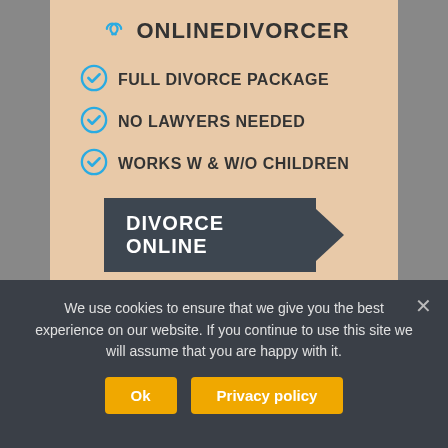ONLINEDIVORCER
FULL DIVORCE PACKAGE
NO LAWYERS NEEDED
WORKS W & W/O CHILDREN
DIVORCE ONLINE
[Figure (photo): Two people sitting apart and looking at each other — a man in a green vest and orange beanie hat on the left, and a woman in a striped top on the right, against a tan/beige wall background.]
We use cookies to ensure that we give you the best experience on our website. If you continue to use this site we will assume that you are happy with it.
Ok
Privacy policy